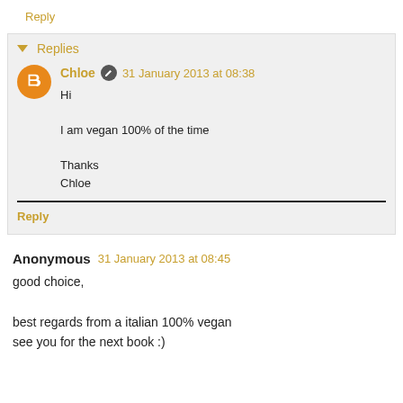Reply
▼ Replies
Chloe  31 January 2013 at 08:38
Hi

I am vegan 100% of the time

Thanks
Chloe
Reply
Anonymous  31 January 2013 at 08:45
good choice,

best regards from a italian 100% vegan
see you for the next book :)